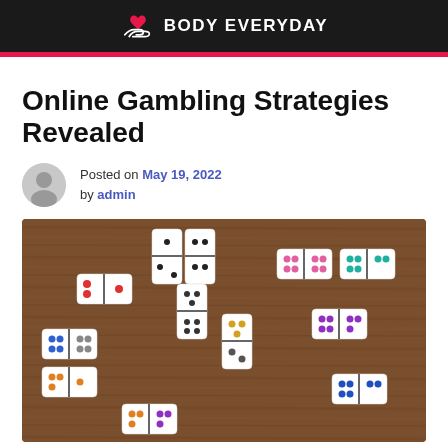BODY EVERYDAY
Online Gambling Strategies Revealed
Posted on May 19, 2022 by admin
[Figure (photo): Colorful domino tiles arranged in a chain pattern on a wooden table surface]